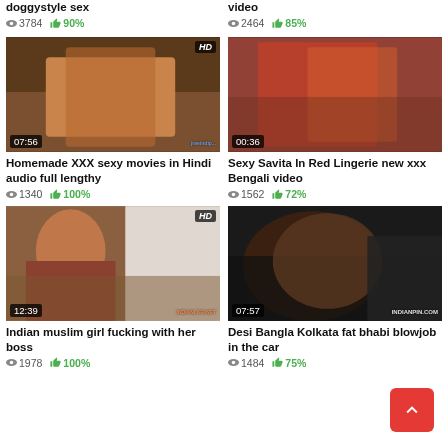doggystyle sex
👁 3784 👍 90%
video
👁 2464 👍 85%
[Figure (photo): Video thumbnail with HD badge, duration 07:56, homemade XXX scene]
[Figure (photo): Video thumbnail, duration 00:36, Sexy Savita in red lingerie]
Homemade XXX sexy movies in Hindi audio full lengthy
👁 1340 👍 100%
Sexy Savita In Red Lingerie new xxx Bengali video
👁 1562 👍 72%
[Figure (photo): Video thumbnail with HD badge, duration 12:39, Indian muslim girl in hijab and saree]
[Figure (photo): Video thumbnail, duration 07:57, watermark INDIANPIN.COM, Desi Bangla Kolkata scene in car]
Indian muslim girl fucking with her boss
👁 1978 👍 100%
Desi Bangla Kolkata fat bhabi blowjob in the car
👁 1484 👍 75%